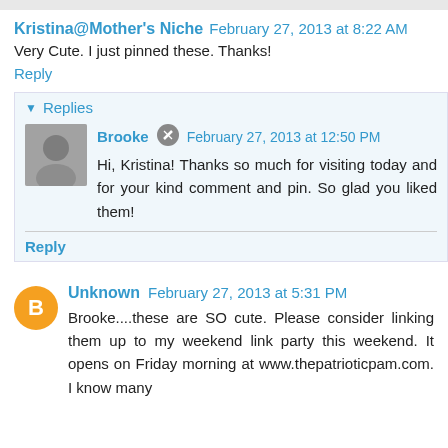Kristina@Mother's Niche  February 27, 2013 at 8:22 AM
Very Cute. I just pinned these. Thanks!
Reply
Replies
Brooke  February 27, 2013 at 12:50 PM
Hi, Kristina! Thanks so much for visiting today and for your kind comment and pin. So glad you liked them!
Reply
Unknown  February 27, 2013 at 5:31 PM
Brooke....these are SO cute. Please consider linking them up to my weekend link party this weekend. It opens on Friday morning at www.thepatrioticpam.com. I know many